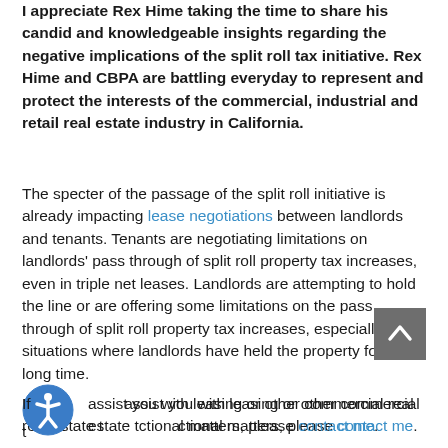I appreciate Rex Hime taking the time to share his candid and knowledgeable insights regarding the negative implications of the split roll tax initiative. Rex Hime and CBPA are battling everyday to represent and protect the interests of the commercial, industrial and retail real estate industry in California.
The specter of the passage of the split roll initiative is already impacting lease negotiations between landlords and tenants. Tenants are negotiating limitations on landlords' pass through of split roll property tax increases, even in triple net leases. Landlords are attempting to hold the line or are offering some limitations on the pass through of split roll property tax increases, especially in situations where landlords have held the property for a long time.
If I can assist you with leasing or other commercial real estate transactional matters, please contact me.